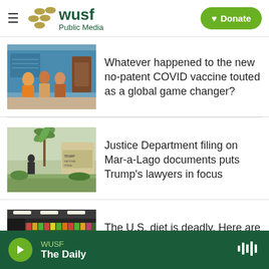WUSF Public Media | Donate
[Figure (photo): People gathered indoors, health/vaccination scene with colorful clothing]
Whatever happened to the new no-patent COVID vaccine touted as a global game changer?
[Figure (photo): Outdoor scene near Mar-a-Lago with palm trees and signage]
Justice Department filing on Mar-a-Lago documents puts Trump's lawyers in focus
[Figure (photo): Grocery store produce/food aisle with customers shopping]
The U.S. diet is deadly. Here are 7 ideas to get Americans eating healthier
WUSF The Daily